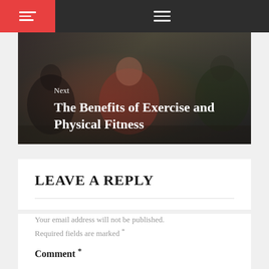Navigation header with hamburger menu icons
[Figure (photo): Fitness/exercise photo showing people doing push-ups or workout exercises on a gym floor, with overlay text 'Next' and 'The Benefits of Exercise and Physical Fitness']
LEAVE A REPLY
Your email address will not be published. Required fields are marked *
Comment *